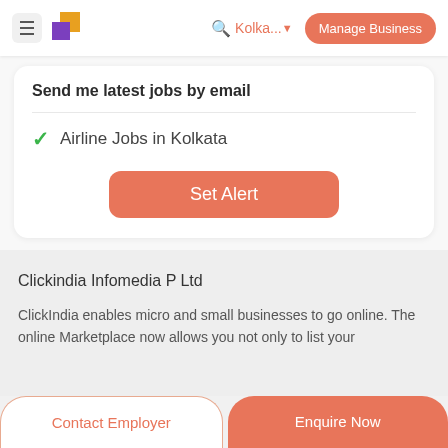Kolka... ▾  Manage Business
Send me latest jobs by email
✓ Airline Jobs in Kolkata
Set Alert
Clickindia Infomedia P Ltd
ClickIndia enables micro and small businesses to go online. The online Marketplace now allows you not only to list your
Contact Employer   Enquire Now